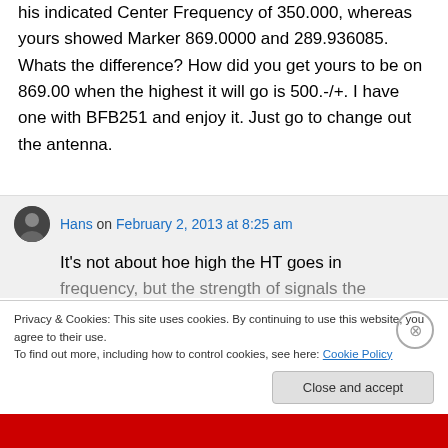his indicated Center Frequency of 350.000, whereas yours showed Marker 869.0000 and 289.936085. Whats the difference? How did you get yours to be on 869.00 when the highest it will go is 500.-/+. I have one with BFB251 and enjoy it. Just go to change out the antenna.
Hans on February 2, 2013 at 8:25 am
It's not about hoe high the HT goes in frequency, but the strength of signals the
Privacy & Cookies: This site uses cookies. By continuing to use this website, you agree to their use.
To find out more, including how to control cookies, see here: Cookie Policy
Close and accept